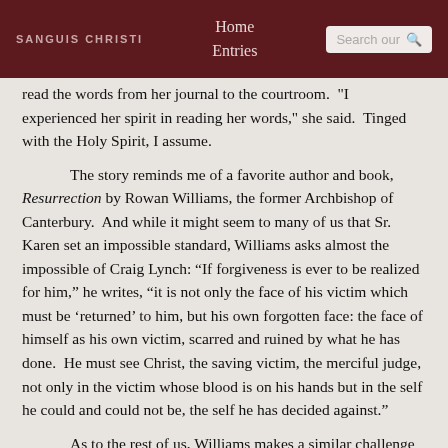SANGUIS CHRISTI | Home Entries | Search our
read the words from her journal to the courtroom.  'I experienced her spirit in reading her words,' she said.  Tinged with the Holy Spirit, I assume.
The story reminds me of a favorite author and book, Resurrection by Rowan Williams, the former Archbishop of Canterbury.  And while it might seem to many of us that Sr. Karen set an impossible standard, Williams asks almost the impossible of Craig Lynch: “If forgiveness is ever to be realized for him,” he writes, “it is not only the face of his victim which must be ‘returned’ to him, but his own forgotten face: the face of himself as his own victim, scarred and ruined by what he has done.  He must see Christ, the saving victim, the merciful judge, not only in the victim whose blood is on his hands but in the self he could and could not be, the self he has decided against.”
As to the rest of us, Williams makes a similar challenge